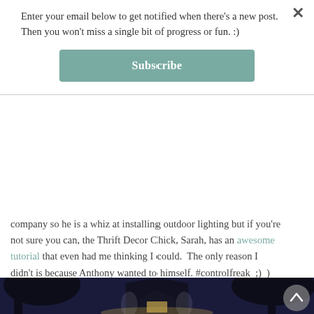Enter your email below to get notified when there's a new post. Then you won't miss a single bit of progress or fun. :)
Subscribe
company so he is a whiz at installing outdoor lighting but if you're not sure you can, the Thrift Decor Chick, Sarah, has an awesome tutorial that even had me thinking I could.  The only reason I didn't is because Anthony wanted to himself. #controlfreak  ;)  )
[Figure (photo): Night photograph of a house with outdoor lighting illuminating the facade, surrounded by dark trees against a deep blue night sky.]